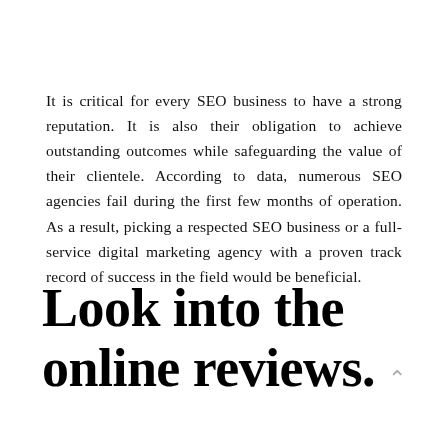It is critical for every SEO business to have a strong reputation. It is also their obligation to achieve outstanding outcomes while safeguarding the value of their clientele. According to data, numerous SEO agencies fail during the first few months of operation. As a result, picking a respected SEO business or a full-service digital marketing agency with a proven track record of success in the field would be beneficial.
Look into the online reviews.